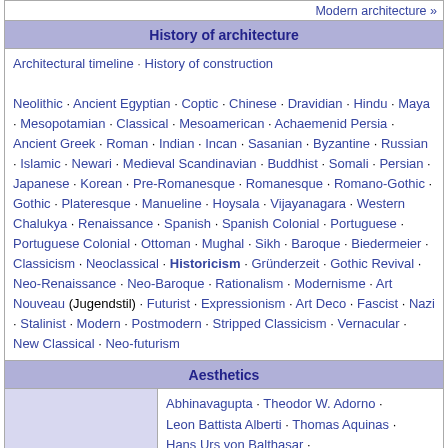Modern architecture »
History of architecture
Architectural timeline · History of construction
Neolithic · Ancient Egyptian · Coptic · Chinese · Dravidian · Hindu · Maya · Mesopotamian · Classical · Mesoamerican · Achaemenid Persia · Ancient Greek · Roman · Indian · Incan · Sasanian · Byzantine · Russian · Islamic · Newari · Medieval Scandinavian · Buddhist · Somali · Persian · Japanese · Korean · Pre-Romanesque · Romanesque · Romano-Gothic · Gothic · Plateresque · Manueline · Hoysala · Vijayanagara · Western Chalukya · Renaissance · Spanish · Spanish Colonial · Portuguese · Portuguese Colonial · Ottoman · Mughal · Sikh · Baroque · Biedermeier · Classicism · Neoclassical · Historicism · Gründerzeit · Gothic Revival · Neo-Renaissance · Neo-Baroque · Rationalism · Modernisme · Art Nouveau (Jugendstil) · Futurist · Expressionism · Art Deco · Fascist · Nazi · Stalinist · Modern · Postmodern · Stripped Classicism · Vernacular · New Classical · Neo-futurism
Aesthetics
Abhinavagupta · Theodor W. Adorno · Leon Battista Alberti · Thomas Aquinas · Hans Urs von Balthasar · Alexander Gottlieb Baumgarten · Clive Bell · Bernard Bosanquet · Edward Bullough ·